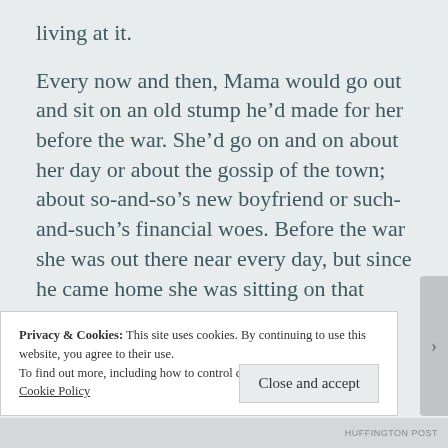living at it.
Every now and then, Mama would go out and sit on an old stump he’d made for her before the war. She’d go on and on about her day or about the gossip of the town; about so-and-so’s new boyfriend or such-and-such’s financial woes. Before the war she was out there near every day, but since he came home she was sitting on that stump less and less.
Privacy & Cookies: This site uses cookies. By continuing to use this website, you agree to their use.
To find out more, including how to control cookies, see here:
Cookie Policy
Close and accept